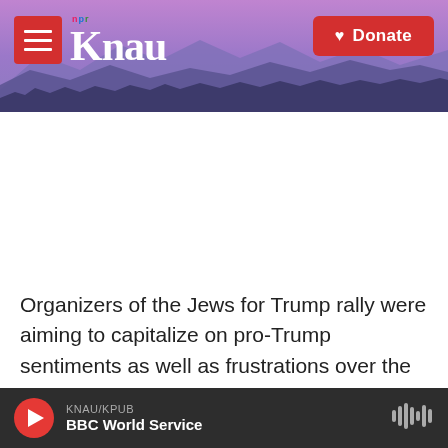[Figure (screenshot): KNAU NPR radio station website header with mountain landscape background, red hamburger menu button, KNAU logo in white serif text with NPR badge, and red Donate button]
Organizers of the Jews for Trump rally were aiming to capitalize on pro-Trump sentiments as well as frustrations over the city's and state's handling of the COVID-19 pandemic. Recently, protests have erupted in Orthodox and other Jewish communities
[Figure (screenshot): Audio player bar showing KNAU/KPUB BBC World Service with red play button and waveform icon]